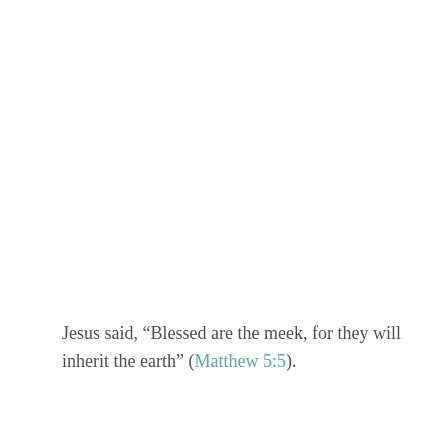Jesus said, “Blessed are the meek, for they will inherit the earth” (Matthew 5:5).